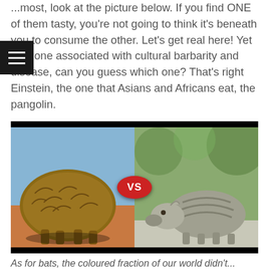...most, look at the picture below. If you find ONE of them tasty, you're not going to think it's beneath you to consume the other. Let's get real here! Yet only one associated with cultural barbarity and disease, can you guess which one? That's right Einstein, the one that Asians and Africans eat, the pangolin.
[Figure (photo): Side-by-side comparison photo of a pangolin (left) and an armadillo (right) with a red VS badge in the center, on a black background.]
As for bats, the coloured fraction of our world didn't...